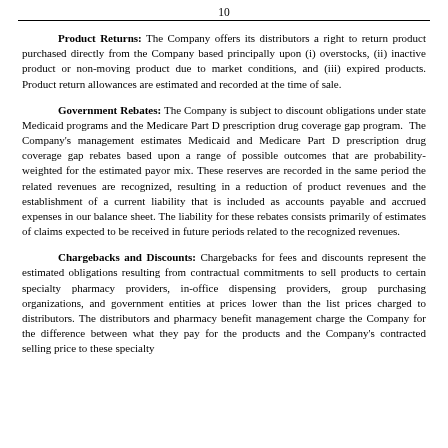10
Product Returns: The Company offers its distributors a right to return product purchased directly from the Company based principally upon (i) overstocks, (ii) inactive product or non-moving product due to market conditions, and (iii) expired products. Product return allowances are estimated and recorded at the time of sale.
Government Rebates: The Company is subject to discount obligations under state Medicaid programs and the Medicare Part D prescription drug coverage gap program.  The Company's management estimates Medicaid and Medicare Part D prescription drug coverage gap rebates based upon a range of possible outcomes that are probability-weighted for the estimated payor mix. These reserves are recorded in the same period the related revenues are recognized, resulting in a reduction of product revenues and the establishment of a current liability that is included as accounts payable and accrued expenses in our balance sheet. The liability for these rebates consists primarily of estimates of claims expected to be received in future periods related to the recognized revenues.
Chargebacks and Discounts: Chargebacks for fees and discounts represent the estimated obligations resulting from contractual commitments to sell products to certain specialty pharmacy providers, in-office dispensing providers, group purchasing organizations, and government entities at prices lower than the list prices charged to distributors. The distributors and pharmacy benefit management charge the Company for the difference between what they pay for the products and the Company's contracted selling price to these specialty